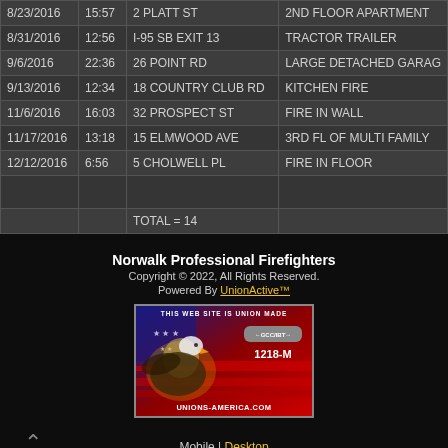| Date | Time | Address | Description |
| --- | --- | --- | --- |
| 8/23/2016 | 15:57 | 2 PLATT ST | 2ND FLOOR APARTMENT |
| 8/31/2016 | 12:56 | I-95 SB EXIT 13 | TRACTOR TRAILER |
| 9/6/2016 | 22:36 | 26 POINT RD | LARGE DETACHED GARAG… |
| 9/13/2016 | 12:34 | 18 COUNTRY CLUB RD | KITCHEN FIRE |
| 11/6/2016 | 16:03 | 32 PROSPECT ST | FIRE IN WALL |
| 11/17/2016 | 13:18 | 15 ELMWOOD AVE | 3RD FL OF MULTI FAMILY |
| 12/12/2016 | 6:56 | 5 CHOLWELL PL | FIRE IN FLOOR |
|  |  |  |  |
|  |  | TOTAL = 14 |  |
Norwalk Professional Firefighters
Copyright © 2022, All Rights Reserved.
Powered By UnionActive™
Mobile | Desktop